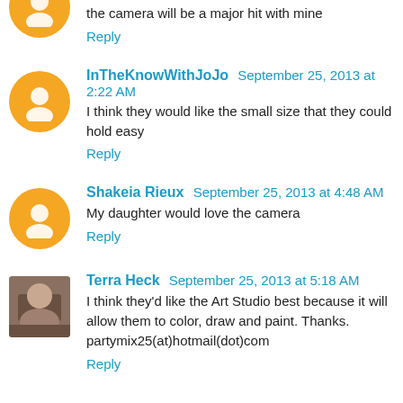the camera will be a major hit with mine
Reply
InTheKnowWithJoJo  September 25, 2013 at 2:22 AM
I think they would like the small size that they could hold easy
Reply
Shakeia Rieux  September 25, 2013 at 4:48 AM
My daughter would love the camera
Reply
Terra Heck  September 25, 2013 at 5:18 AM
I think they'd like the Art Studio best because it will allow them to color, draw and paint. Thanks. partymix25(at)hotmail(dot)com
Reply